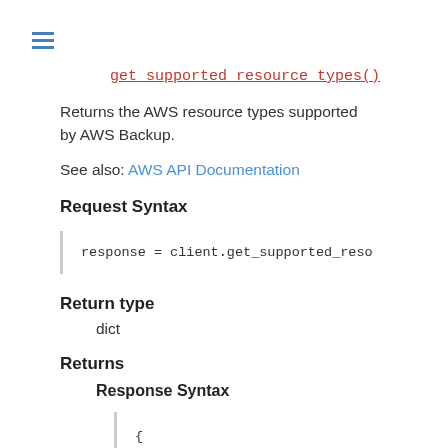get_supported_resource_types()
Returns the AWS resource types supported by AWS Backup.
See also: AWS API Documentation
Request Syntax
response = client.get_supported_reso
Return type
dict
Returns
Response Syntax
{
    'ResourceTypes': [
        'string',